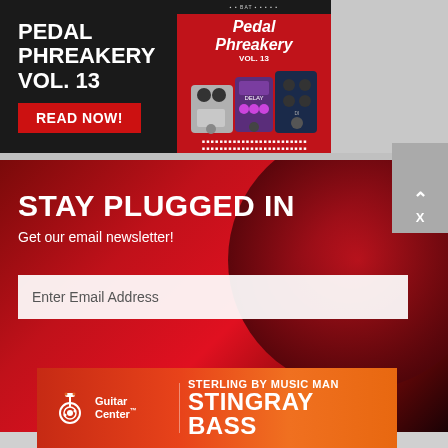[Figure (infographic): Pedal Phreakery Vol. 13 advertisement banner with dark background, red 'READ NOW!' button, and image of guitar pedals on red background. Text reads 'PEDAL PHREAKERY VOL. 13' and 'READ NOW!']
[Figure (infographic): Newsletter signup section with red gradient background. Text reads 'STAY PLUGGED IN', 'Get our email newsletter!', with email input field and Subscribe button. Close overlay with caret and X visible.]
[Figure (infographic): Guitar Center advertisement for Sterling by Music Man Stingray Bass. Red-to-orange gradient background with Guitar Center logo on left and 'STERLING BY MUSIC MAN STINGRAY BASS' text on right.]